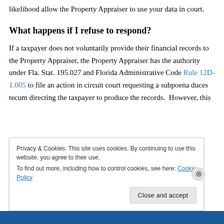likelihood allow the Property Appraiser to use your data in court.
What happens if I refuse to respond?
If a taxpayer does not voluntarily provide their financial records to the Property Appraiser, the Property Appraiser has the authority under Fla. Stat. 195.027 and Florida Administrative Code Rule 12D-1.005 to file an action in circuit court requesting a subpoena duces tecum directing the taxpayer to produce the records.  However, this
Privacy & Cookies: This site uses cookies. By continuing to use this website, you agree to their use.
To find out more, including how to control cookies, see here: Cookie Policy
Close and accept